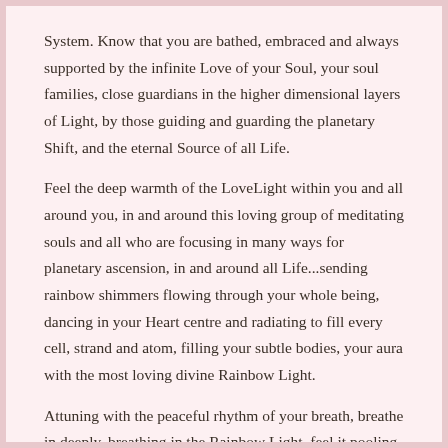System. Know that you are bathed, embraced and always supported by the infinite Love of your Soul, your soul families, close guardians in the higher dimensional layers of Light, by those guiding and guarding the planetary Shift, and the eternal Source of all Life.
Feel the deep warmth of the LoveLight within you and all around you, in and around this loving group of meditating souls and all who are focusing in many ways for planetary ascension, in and around all Life...sending rainbow shimmers flowing through your whole being, dancing in your Heart centre and radiating to fill every cell, strand and atom, filling your subtle bodies, your aura with the most loving divine Rainbow Light.
Attuning with the peaceful rhythm of your breath, breathe in deeply, breathing in the Rainbow Light, feel it pooling in